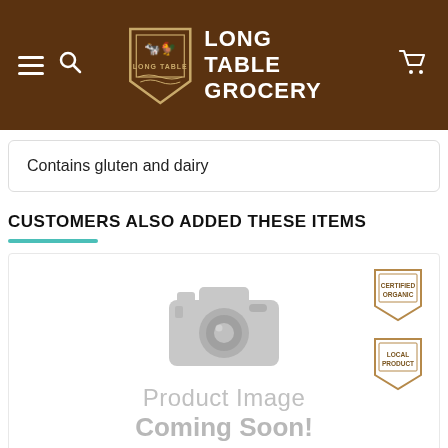[Figure (logo): Long Table Grocery website header with hamburger menu, search icon, logo badge and text, and shopping cart icon on a dark brown background]
Contains gluten and dairy
CUSTOMERS ALSO ADDED THESE ITEMS
[Figure (illustration): Product placeholder card showing a grey camera icon and the text 'Product Image Coming Soon!' with Certified Organic and Local Product badges in the top right corner]